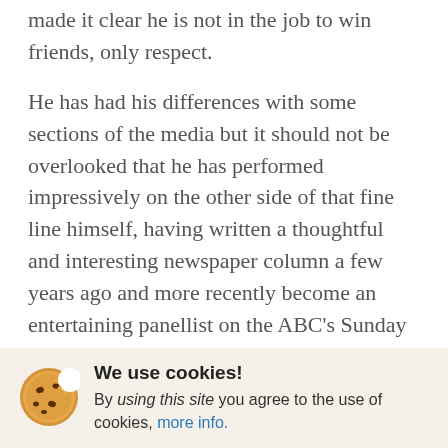made it clear he is not in the job to win friends, only respect.
He has had his differences with some sections of the media but it should not be overlooked that he has performed impressively on the other side of that fine line himself, having written a thoughtful and interesting newspaper column a few years ago and more recently become an entertaining panellist on the ABC's Sunday morning Offsiders sports show. There, he comes across as a good bloke – which, to most media people who have dealt with him long-term, he is.
We use cookies! By using this site you agree to the use of cookies, more info.